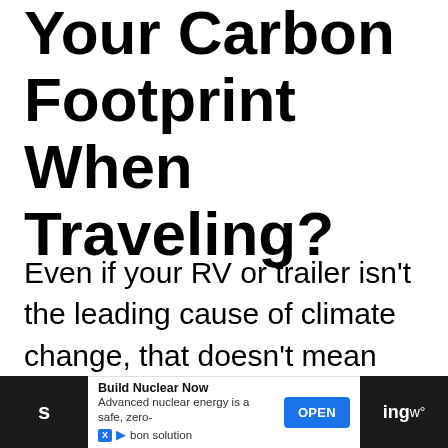Your Carbon Footprint When Traveling?
Even if your RV or trailer isn't the leading cause of climate change, that doesn't mean you can't take steps to reduce your impact. Here are some of the most s[ignificant]...
[Figure (other): Advertisement bar at the bottom: 'Build Nuclear Now - Advanced nuclear energy is a safe, zero-carbon solution' with an OPEN button, flanked by dark strips on each side.]